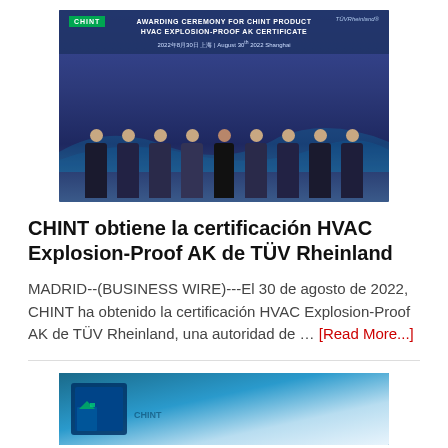[Figure (photo): Awarding ceremony photo for CHINT Product HVAC Explosion-Proof AK Certificate, showing a group of people posing in front of a blue backdrop with CHINT and TÜV Rheinland logos.]
CHINT obtiene la certificación HVAC Explosion-Proof AK de TÜV Rheinland
MADRID--(BUSINESS WIRE)---El 30 de agosto de 2022, CHINT ha obtenido la certificación HVAC Explosion-Proof AK de TÜV Rheinland, una autoridad de … [Read More...]
[Figure (photo): Exterior photo of a building with a large blue CHINT logo sign.]